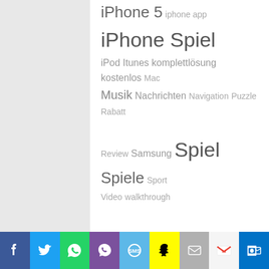iPhone 5 iphone app iPhone Spiel iPod Itunes komplettlösung kostenlos Mac Musik Nachrichten Navigation Puzzle Rabatt Review Samsung Spiel Spiele Sport Video walkthrough
ARCHIV
Februar 2016 (1)
Januar 2016 (1)
November 2015 (1)
Oktober 2015 (1)
September 2015 (1)
Februar 2015 (3)